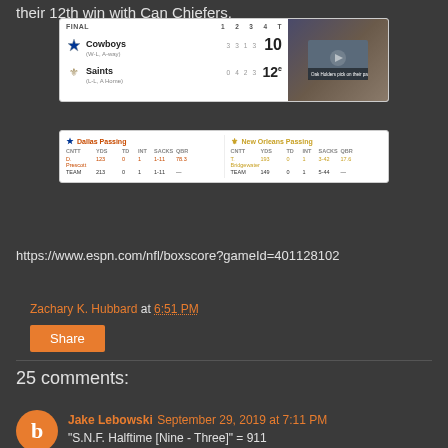their 12th win with Can Chiefers.
[Figure (screenshot): ESPN scorebox showing Cowboys 10, Saints 12 (Final), with quarter scores and a game photo]
[Figure (screenshot): ESPN passing stats box showing Dallas passing (D. Prescott 22/33 213 yds 0 TD 1 INT) and New Orleans passing (T. Bridgewater 22/32 193 yds 0 TD 1 INT)]
https://www.espn.com/nfl/boxscore?gameId=401128102
Zachary K. Hubbard at 6:51 PM
Share
25 comments:
Jake Lebowski September 29, 2019 at 7:11 PM
"S.N.F. Halftime [Nine - Three]" = 911